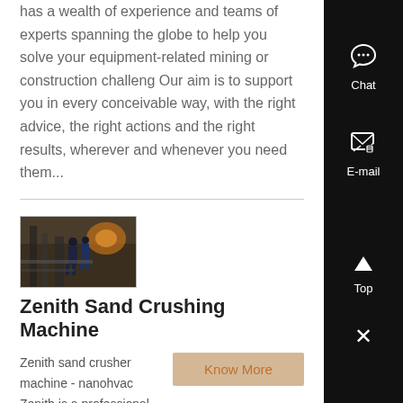has a wealth of experience and teams of experts spanning the globe to help you solve your equipment-related mining or construction challeng Our aim is to support you in every conceivable way, with the right advice, the right actions and the right results, wherever and whenever you need them...
[Figure (photo): Photo of industrial/mining equipment in a workshop setting with machinery and workers]
Zenith Sand Crushing Machine
Zenith sand crusher machine - nanohvac Zenith is a professional manufacturer of mining equipment, which includes stone crusher, Grinding Mill, beneficiation machine, and other associated machin Chatear en linea jaw crusher, stone crusher, mobile crusher